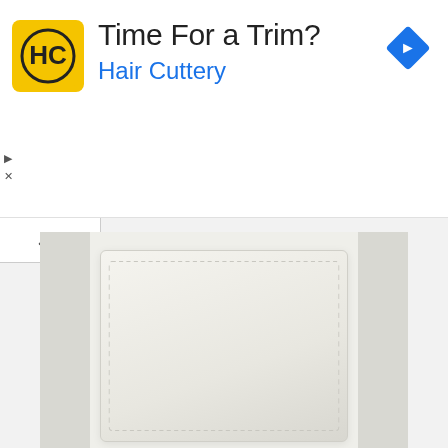[Figure (screenshot): Advertisement banner for Hair Cuttery with yellow HC logo, text 'Time For a Trim?' and 'Hair Cuttery' in blue, with a blue diamond navigation icon in the top right corner.]
[Figure (photo): Product photo of a white/cream colored rectangular leather wallet or sunglasses case, shown closed, with stitched edges, against a light grey background.]
SUNGLASSES: Le Specs 'Bandwagon' Sunglasses (repeat).
Embed from Getty Images